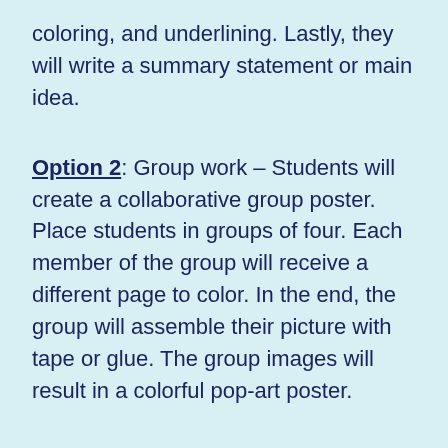coloring, and underlining. Lastly, they will write a summary statement or main idea.
Option 2: Group work – Students will create a collaborative group poster. Place students in groups of four. Each member of the group will receive a different page to color. In the end, the group will assemble their picture with tape or glue. The group images will result in a colorful pop-art poster.